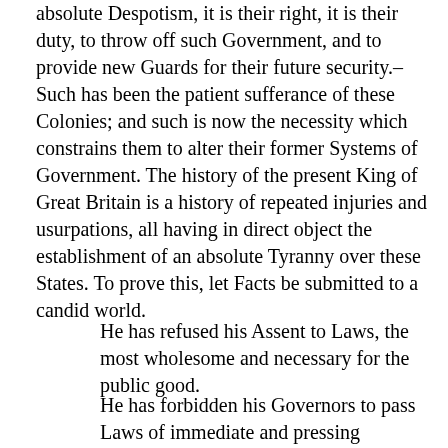absolute Despotism, it is their right, it is their duty, to throw off such Government, and to provide new Guards for their future security.–Such has been the patient sufferance of these Colonies; and such is now the necessity which constrains them to alter their former Systems of Government. The history of the present King of Great Britain is a history of repeated injuries and usurpations, all having in direct object the establishment of an absolute Tyranny over these States. To prove this, let Facts be submitted to a candid world.
He has refused his Assent to Laws, the most wholesome and necessary for the public good.
He has forbidden his Governors to pass Laws of immediate and pressing importance, unless suspended in their operation till his Assent should be obtained; and when so suspended, he